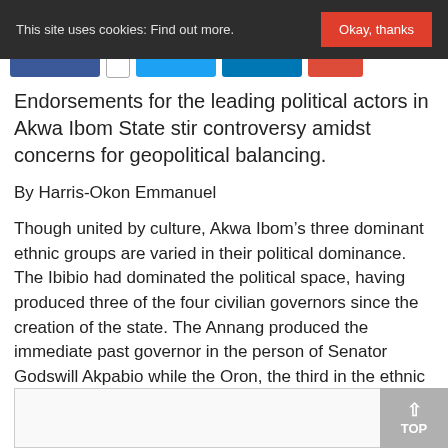This site uses cookies: Find out more. Okay, thanks
Endorsements for the leading political actors in Akwa Ibom State stir controversy amidst concerns for geopolitical balancing.
By Harris-Okon Emmanuel
Though united by culture, Akwa Ibom’s three dominant ethnic groups are varied in their political dominance. The Ibibio had dominated the political space, having produced three of the four civilian governors since the creation of the state. The Annang produced the immediate past governor in the person of Senator Godswill Akpabio while the Oron, the third in the ethnic tripod holding the state, is yet to produce a governor.